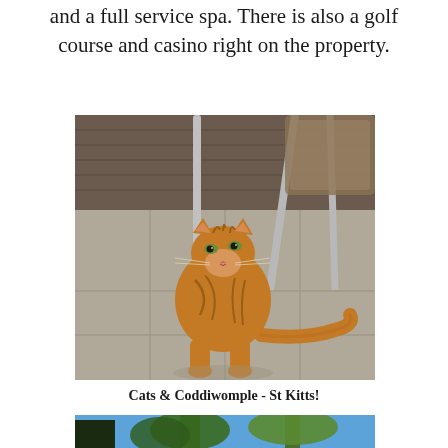and a full service spa. There is also a golf course and casino right on the property.
[Figure (photo): Orange tabby cat sitting on tiled patio floor next to metal chair legs, looking upward]
Cats & Coddiwomple - St Kitts!
[Figure (photo): Partial view of tropical trees and blue sky, bottom of page]